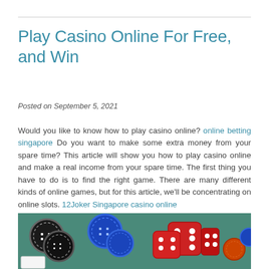Play Casino Online For Free, and Win
Posted on September 5, 2021
Would you like to know how to play casino online? online betting singapore Do you want to make some extra money from your spare time? This article will show you how to play casino online and make a real income from your spare time. The first thing you have to do is to find the right game. There are many different kinds of online games, but for this article, we'll be concentrating on online slots. 12Joker Singapore casino online
[Figure (photo): Photo of casino chips (black, blue) and red dice on a green felt surface with playing cards]